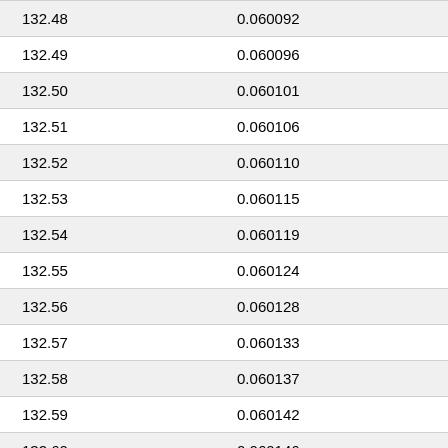| 132.48 | 0.060092 |
| 132.49 | 0.060096 |
| 132.50 | 0.060101 |
| 132.51 | 0.060106 |
| 132.52 | 0.060110 |
| 132.53 | 0.060115 |
| 132.54 | 0.060119 |
| 132.55 | 0.060124 |
| 132.56 | 0.060128 |
| 132.57 | 0.060133 |
| 132.58 | 0.060137 |
| 132.59 | 0.060142 |
| 132.60 | 0.060146 |
| 132.61 | 0.060151 |